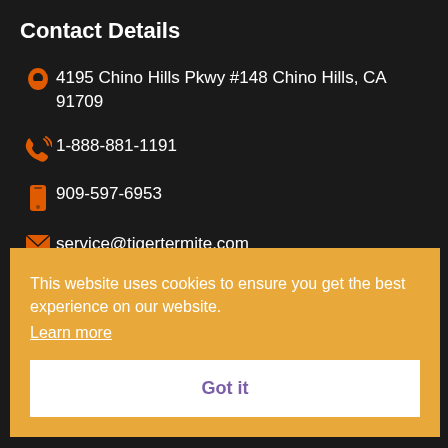Contact Details
4195 Chino Hills Pkwy #148 Chino Hills, CA 91709
1-888-881-1191
909-597-6953
service@tigertermite.com
Business Hours
This website uses cookies to ensure you get the best experience on our website. Learn more
Got it